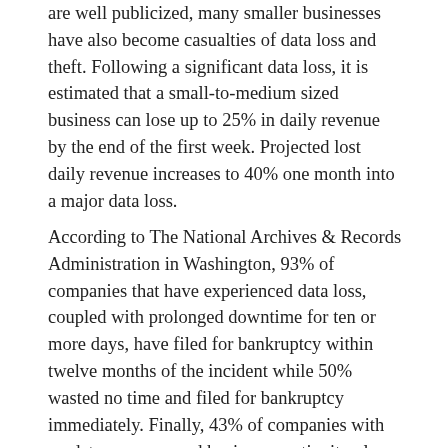are well publicized, many smaller businesses have also become casualties of data loss and theft. Following a significant data loss, it is estimated that a small-to-medium sized business can lose up to 25% in daily revenue by the end of the first week. Projected lost daily revenue increases to 40% one month into a major data loss.
According to The National Archives & Records Administration in Washington, 93% of companies that have experienced data loss, coupled with prolonged downtime for ten or more days, have filed for bankruptcy within twelve months of the incident while 50% wasted no time and filed for bankruptcy immediately. Finally, 43% of companies with no data recovery and business continuity plan actually go out of business following a major data loss.
Still, a survey conducted by Symantec SMB revealed that fewer than half of SMBs surveyed backup their